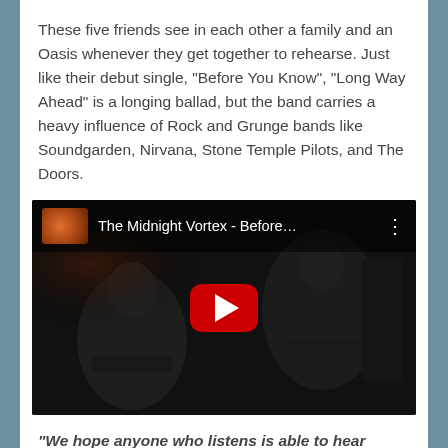These five friends see in each other a family and an Oasis whenever they get together to rehearse. Just like their debut single, “Before You Know”, “Long Way Ahead” is a longing ballad, but the band carries a heavy influence of Rock and Grunge bands like Soundgarden, Nirvana, Stone Temple Pilots, and The Doors.
[Figure (screenshot): YouTube video embed showing The Midnight Vortex - Before... with a dark background image of musicians and a red YouTube play button in the center.]
“We hope anyone who listens is able to hear